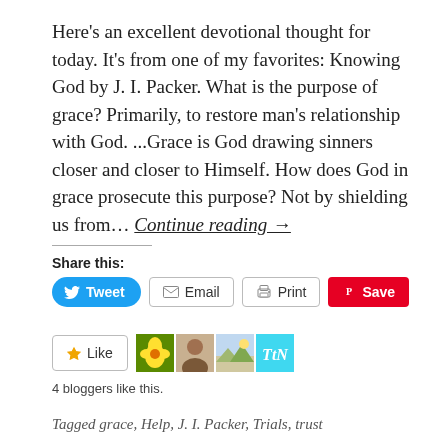Here's an excellent devotional thought for today. It's from one of my favorites: Knowing God by J. I. Packer. What is the purpose of grace? Primarily, to restore man's relationship with God. ...Grace is God drawing sinners closer and closer to Himself. How does God in grace prosecute this purpose? Not by shielding us from... Continue reading →
Share this:
Tweet | Email | Print | Save
Like | 4 bloggers like this.
Tagged grace, Help, J. I. Packer, Trials, trust